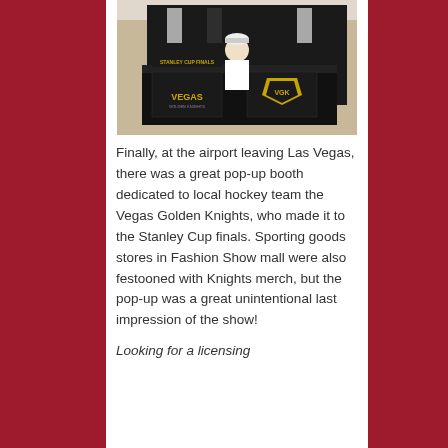[Figure (photo): A Vegas Golden Knights pop-up merchandise booth at an airport, featuring black display cases with Vegas Golden Knights branding including a shield logo and the word VEGAS. A person in a white shirt and cap is visible behind the counter.]
Finally, at the airport leaving Las Vegas, there was a great pop-up booth dedicated to local hockey team the Vegas Golden Knights, who made it to the Stanley Cup finals. Sporting goods stores in Fashion Show mall were also festooned with Knights merch, but the pop-up was a great unintentional last impression of the show!
Looking for a licensing